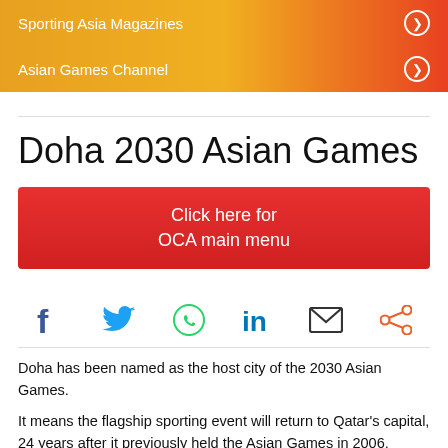Sporting Asia Magazines
Asian Games Channel
Doha 2030 Asian Games
Click here for OCA main menu
[Figure (infographic): Social sharing icons: Facebook, Twitter, WhatsApp, LinkedIn, Email, Share]
Doha has been named as the host city of the 2030 Asian Games.
It means the flagship sporting event will return to Qatar's capital, 24 years after it previously held the Asian Games in 2006.